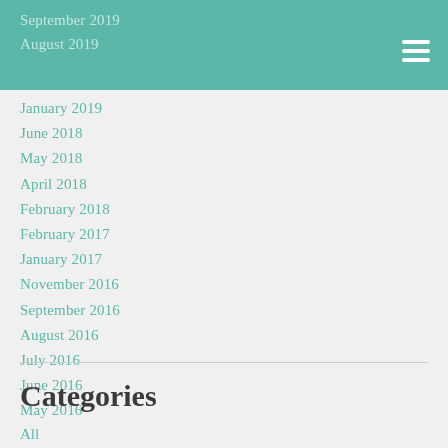September 2019
August 2019
January 2019
June 2018
May 2018
April 2018
February 2018
February 2017
January 2017
November 2016
September 2016
August 2016
July 2016
June 2016
May 2016
Categories
All
4 Under 40